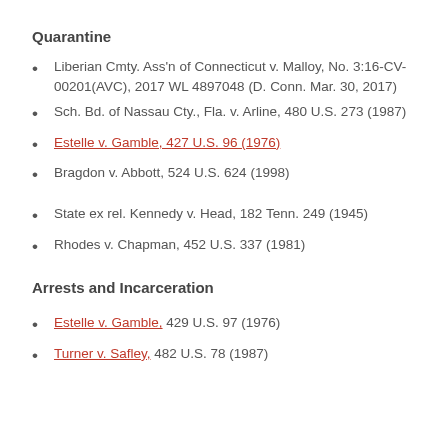Quarantine
Liberian Cmty. Ass'n of Connecticut v. Malloy, No. 3:16-CV-00201(AVC), 2017 WL 4897048 (D. Conn. Mar. 30, 2017)
Sch. Bd. of Nassau Cty., Fla. v. Arline, 480 U.S. 273 (1987)
Estelle v. Gamble, 427 U.S. 96 (1976)
Bragdon v. Abbott, 524 U.S. 624 (1998)
State ex rel. Kennedy v. Head, 182 Tenn. 249 (1945)
Rhodes v. Chapman, 452 U.S. 337 (1981)
Arrests and Incarceration
Estelle v. Gamble, 429 U.S. 97 (1976)
Turner v. Safley, 482 U.S. 78 (1987)